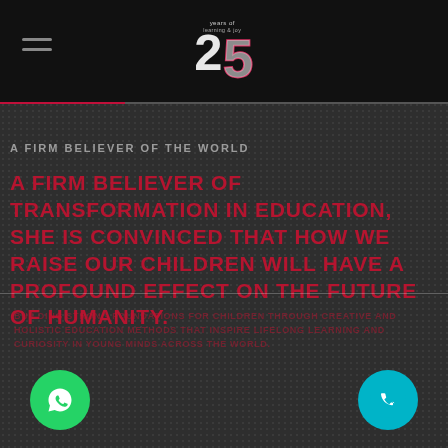[Figure (logo): 25 years anniversary logo with stylized '25' numeral and 'years of' text above]
A FIRM BELIEVER OF THE WORLD
A FIRM BELIEVER OF TRANSFORMATION IN EDUCATION, SHE IS CONVINCED THAT HOW WE RAISE OUR CHILDREN WILL HAVE A PROFOUND EFFECT ON THE FUTURE OF HUMANITY.
Body text section (partially obscured lower content)
[Figure (illustration): WhatsApp button icon (green circle with phone handset)]
[Figure (illustration): Phone call button icon (teal/cyan circle with phone handset)]